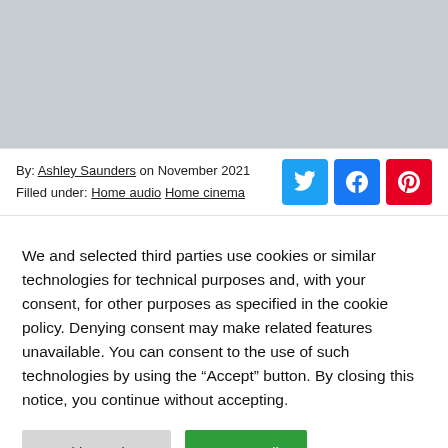[Figure (photo): Gray image placeholder area at top of page]
By: Ashley Saunders on November 2021
Filled under: Home audio Home cinema
We and selected third parties use cookies or similar technologies for technical purposes and, with your consent, for other purposes as specified in the cookie policy. Denying consent may make related features unavailable. You can consent to the use of such technologies by using the “Accept” button. By closing this notice, you continue without accepting.
Cookie Settings | Accept All